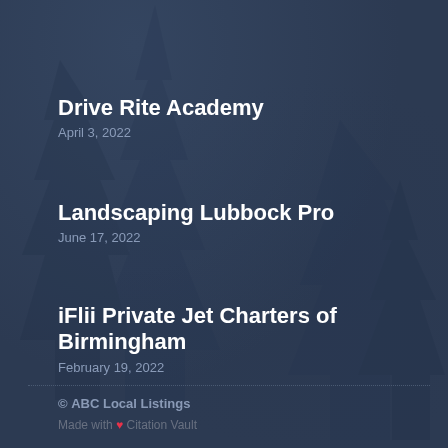Drive Rite Academy
April 3, 2022
Landscaping Lubbock Pro
June 17, 2022
iFlii Private Jet Charters of Birmingham
February 19, 2022
© ABC Local Listings
Made with ❤ Citation Vault